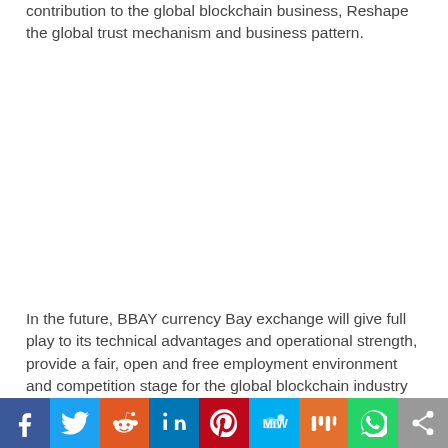contribution to the global blockchain business, Reshape the global trust mechanism and business pattern.
In the future, BBAY currency Bay exchange will give full play to its technical advantages and operational strength, provide a fair, open and free employment environment and competition stage for the global blockchain industry by providing a trading platform for the mutual accommodation of blockchain digital assets,
[Figure (other): Social media share bar with icons: Facebook, Twitter, Reddit, LinkedIn, Pinterest, MeWe, Mix, WhatsApp, Share]